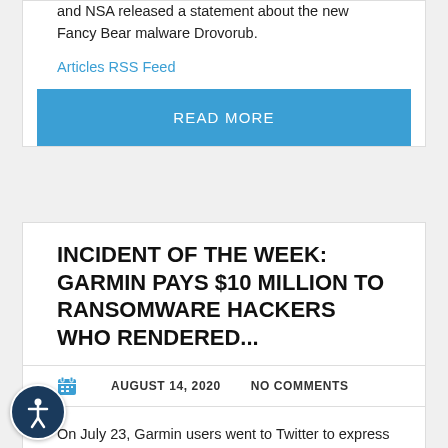and NSA released a statement about the new Fancy Bear malware Drovorub.
Articles RSS Feed
READ MORE
INCIDENT OF THE WEEK: GARMIN PAYS $10 MILLION TO RANSOMWARE HACKERS WHO RENDERED...
AUGUST 14, 2020   NO COMMENTS
On July 23, Garmin users went to Twitter to express their concern over inaccessible website features. Four days later, Garmin released an official statement confirming that a cyber attack had taken pl...